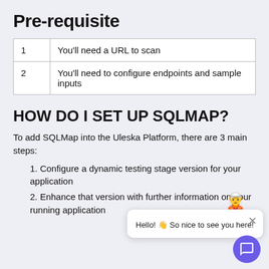Pre-requisite
| 1 | You'll need a URL to scan |
| 2 | You'll need to configure endpoints and sample inputs |
HOW DO I SET UP SQLMAP?
To add SQLMap into the Uleska Platform, there are 3 main steps:
Configure a dynamic testing stage version for your application
Enhance that version with further information on your running application